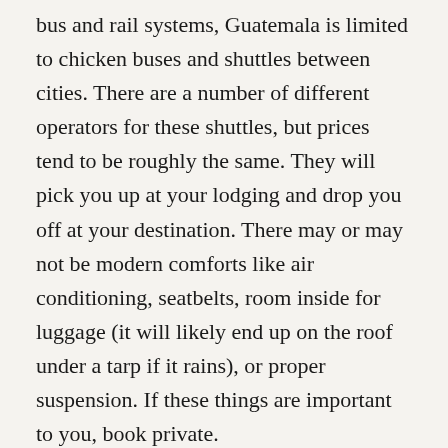bus and rail systems, Guatemala is limited to chicken buses and shuttles between cities. There are a number of different operators for these shuttles, but prices tend to be roughly the same. They will pick you up at your lodging and drop you off at your destination. There may or may not be modern comforts like air conditioning, seatbelts, room inside for luggage (it will likely end up on the roof under a tarp if it rains), or proper suspension. If these things are important to you, book private.
The journey from Guatemala City to Antigua is roughly an hour depending on traffic, and from Antigua to Lake Atitlan about 2.5. Roads are of